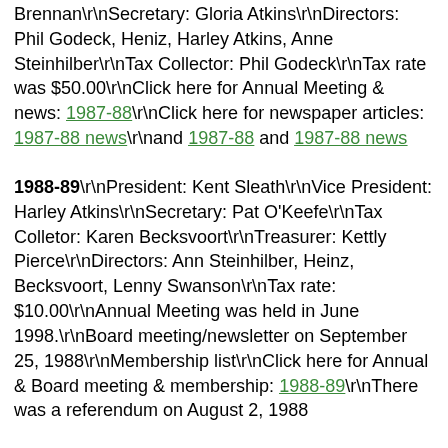Brennan\r\nSecretary: Gloria Atkins\r\nDirectors: Phil Godeck, Heniz, Harley Atkins, Anne Steinhilber\r\nTax Collector: Phil Godeck\r\nTax rate was $50.00\r\nClick here for Annual Meeting & news: 1987-88\r\nClick here for newspaper articles: 1987-88 news\r\nand 1987-88 and 1987-88 news
1988-89\r\nPresident: Kent Sleath\r\nVice President: Harley Atkins\r\nSecretary: Pat O'Keefe\r\nTax Colletor: Karen Becksvoort\r\nTreasurer: Kettly Pierce\r\nDirectors: Ann Steinhilber, Heinz, Becksvoort, Lenny Swanson\r\nTax rate: $10.00\r\nAnnual Meeting was held in June 1998.\r\nBoard meeting/newsletter on September 25, 1988\r\nMembership list\r\nClick here for Annual & Board meeting & membership: 1988-89\r\nThere was a referendum on August 2, 1988